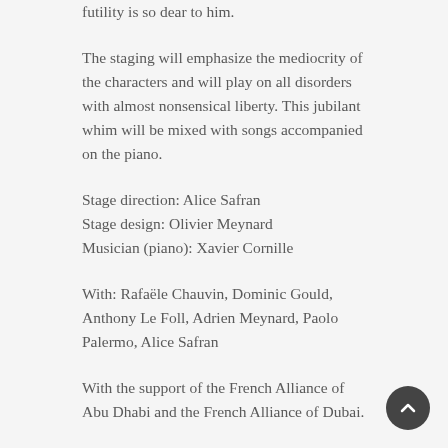futility is so dear to him.
The staging will emphasize the mediocrity of the characters and will play on all disorders with almost nonsensical liberty. This jubilant whim will be mixed with songs accompanied on the piano.
Stage direction: Alice Safran
Stage design: Olivier Meynard
Musician (piano): Xavier Cornille
With: Rafaële Chauvin, Dominic Gould, Anthony Le Foll, Adrien Meynard, Paolo Palermo, Alice Safran
With the support of the French Alliance of Abu Dhabi and the French Alliance of Dubai.